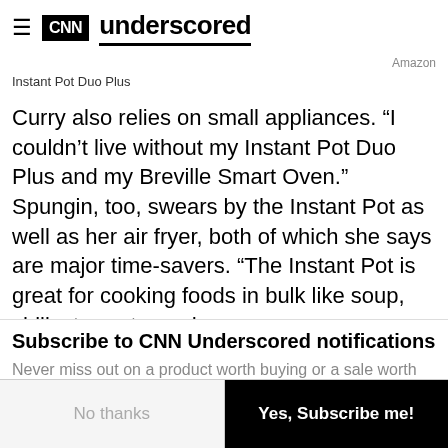CNN underscored
Amazon
Instant Pot Duo Plus
Curry also relies on small appliances. “I couldn’t live without my Instant Pot Duo Plus and my Breville Smart Oven.” Spungin, too, swears by the Instant Pot as well as her air fryer, both of which she says are major time-savers. “The Instant Pot is great for cooking foods in bulk like soup, chili, stew, etc. and
Subscribe to CNN Underscored notifications
Never miss out on a product worth buying or a sale worth shopping by subscribing to our push notifications.
No thanks
Yes, Subscribe me!